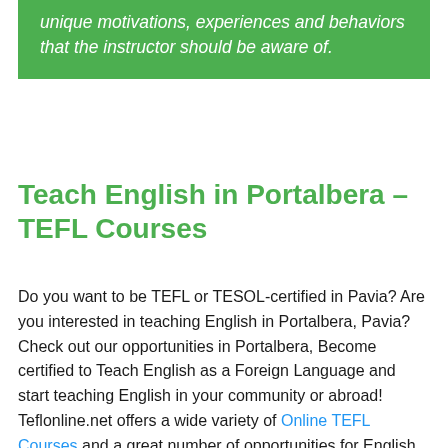unique motivations, experiences and behaviors that the instructor should be aware of.
Teach English in Portalbera – TEFL Courses
Do you want to be TEFL or TESOL-certified in Pavia? Are you interested in teaching English in Portalbera, Pavia? Check out our opportunities in Portalbera, Become certified to Teach English as a Foreign Language and start teaching English in your community or abroad! Teflonline.net offers a wide variety of Online TEFL Courses and a great number of opportunities for English Teachers and for Teachers of English as a Second Language.